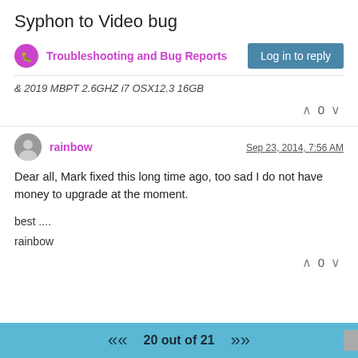Syphon to Video bug
Troubleshooting and Bug Reports
& 2019 MBPT 2.6GHZ i7 OSX12.3 16GB
0
rainbow  Sep 23, 2014, 7:56 AM
Dear all, Mark fixed this long time ago, too sad I do not have money to upgrade at the moment.

best ....
rainbow
0
20 out of 21